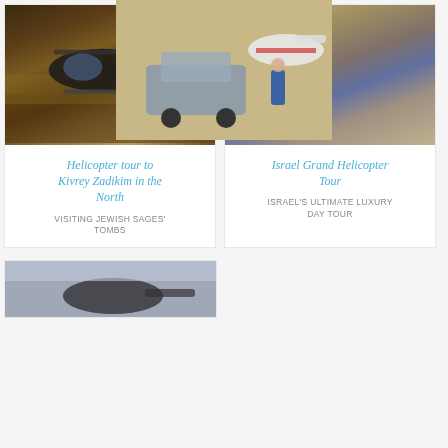[Figure (photo): Black helicopter on dry ground with brown grass and soil, close-up front view]
Helicopter tour to Kivrey Zadikim in the North
VISITING JEWISH SAGES' TOMBS
[Figure (photo): White and red helicopter on dry ground with SUV car and man standing in blue shirt and jeans]
Israel Grand Helicopter Tour
ISRAEL'S ULTIMATE LUXURY DAY TOUR
[Figure (photo): Partial view of helicopter against grey sky, bottom of page]